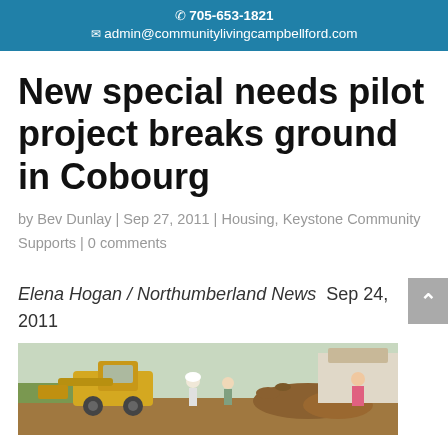705-653-1821  admin@communitylivingcampbellford.com
New special needs pilot project breaks ground in Cobourg
by Bev Dunlay | Sep 27, 2011 | Housing, Keystone Community Supports | 0 comments
Elena Hogan / Northumberland News  Sep 24, 2011
[Figure (photo): Ground-breaking ceremony photo showing construction equipment (yellow front-end loader) and people at a construction site, partially visible at bottom of page.]